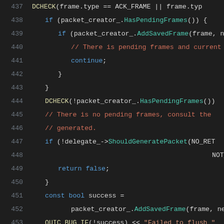[Figure (screenshot): Source code viewer showing C++ code lines 437-459, dark theme IDE screenshot with syntax highlighting. Line numbers in gray on left, keywords in blue, method names in teal, comments in red-orange, string literals in orange.]